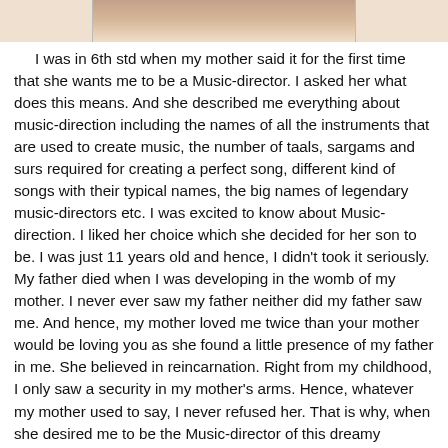[Figure (photo): Bottom portion of a person's photo, cropped, showing only the lower part of the face/neck area against a light background.]
I was in 6th std when my mother said it for the first time that she wants me to be a Music-director. I asked her what does this means. And she described me everything about music-direction including the names of all the instruments that are used to create music, the number of taals, sargams and surs required for creating a perfect song, different kind of songs with their typical names, the big names of legendary music-directors etc. I was excited to know about Music-direction. I liked her choice which she decided for her son to be. I was just 11 years old and hence, I didn't took it seriously. My father died when I was developing in the womb of my mother. I never ever saw my father neither did my father saw me. And hence, my mother loved me twice than your mother would be loving you as she found a little presence of my father in me. She believed in reincarnation. Right from my childhood, I only saw a security in my mother's arms. Hence, whatever my mother used to say, I never refused her. That is why, when she desired me to be the Music-director of this dreamy Bollywood world, I didn't